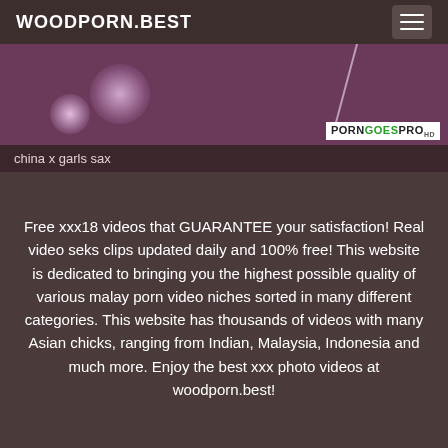WOODPORN.BEST
[Figure (photo): Thumbnail image with purple/pink tones, glowing lights, and a PORNGOESPRO watermark badge. Caption reads: china x garls sax]
china x garls sax
Free xxx18 videos that GUARANTEE your satisfaction! Real video seks clips updated daily and 100% free! This website is dedicated to bringing you the highest possible quality of various malay porn video niches sorted in many different categories. This website has thousands of videos with many Asian chicks, ranging from Indian, Malaysia, Indonesia and much more. Enjoy the best xxx photo videos at woodporn.best!